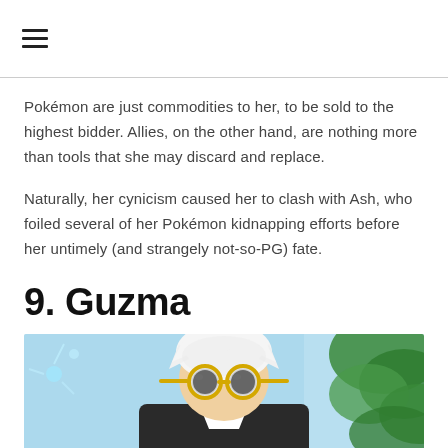≡
Pokémon are just commodities to her, to be sold to the highest bidder. Allies, on the other hand, are nothing more than tools that she may discard and replace.
Naturally, her cynicism caused her to clash with Ash, who foiled several of her Pokémon kidnapping efforts before her untimely (and strangely not-so-PG) fate.
9. Guzma
[Figure (illustration): Anime-style illustration of Guzma, a character with spiky white hair and large round yellow-rimmed sunglasses, against a light blue background with green foliage on the right side.]